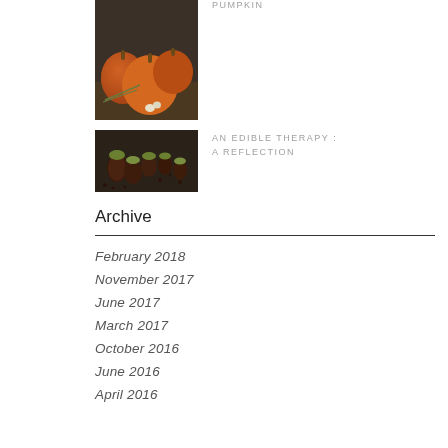[Figure (photo): Photo of orange pumpkins with rosemary on a dark wooden surface]
PUMPKIN
[Figure (photo): Photo of chocolate-covered strawberries with pistachio topping]
AN EDIBLE THERAPY : A REFLECTION
Archive
February 2018
November 2017
June 2017
March 2017
October 2016
June 2016
April 2016